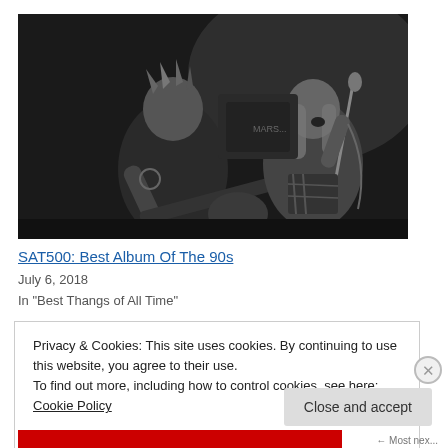[Figure (photo): Black and white concert photo of two rock musicians on stage — one shirtless bassist leaning forward and one long-haired vocalist singing into a microphone]
SAT500: Best Album Of The 90s
July 6, 2018
In "Best Thangs of All Time"
Privacy & Cookies: This site uses cookies. By continuing to use this website, you agree to their use.
To find out more, including how to control cookies, see here: Cookie Policy
Close and accept